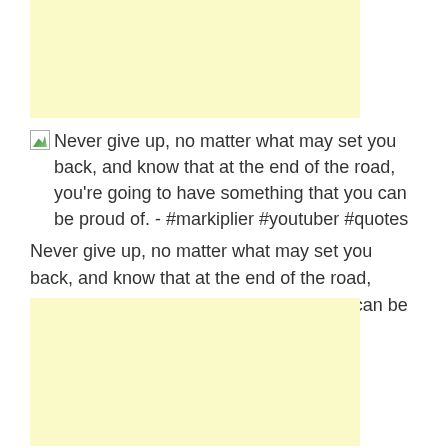[Figure (other): Light yellow advertisement banner at the top of the page]
[image] Never give up, no matter what may set you back, and know that at the end of the road, you're going to have something that you can be proud of. - #markiplier #youtuber #quotes
Never give up, no matter what may set you back, and know that at the end of the road, you're going to have something that you can be proud of.
[Figure (other): Light yellow advertisement banner at the bottom of the page]